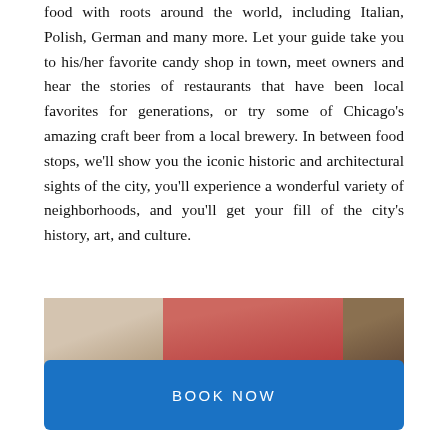food with roots around the world, including Italian, Polish, German and many more. Let your guide take you to his/her favorite candy shop in town, meet owners and hear the stories of restaurants that have been local favorites for generations, or try some of Chicago's amazing craft beer from a local brewery. In between food stops, we'll show you the iconic historic and architectural sights of the city, you'll experience a wonderful variety of neighborhoods, and you'll get your fill of the city's history, art, and culture.
[Figure (photo): A partial image strip showing three photo panels: left panel with beige/tan tones, center panel with a red/coral background, and right panel with dark brown tones.]
BOOK NOW